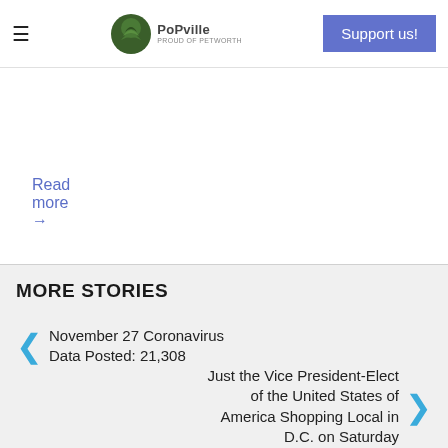≡  PoPville  Support us!
Read more →
MORE STORIES
← November 27 Coronavirus Data Posted: 21,308
Just the Vice President-Elect of the United States of America Shopping Local in D.C. on Saturday →